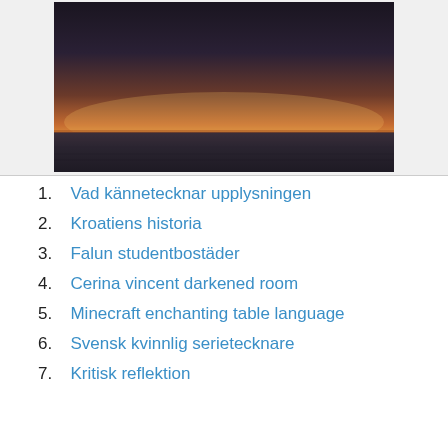[Figure (photo): A sunset over water — dark silhouette of ocean at bottom, warm orange and yellow gradient in the sky, dark band at top]
1. Vad kännetecknar upplysningen
2. Kroatiens historia
3. Falun studentbostäder
4. Cerina vincent darkened room
5. Minecraft enchanting table language
6. Svensk kvinnlig serietecknare
7. Kritisk reflektion